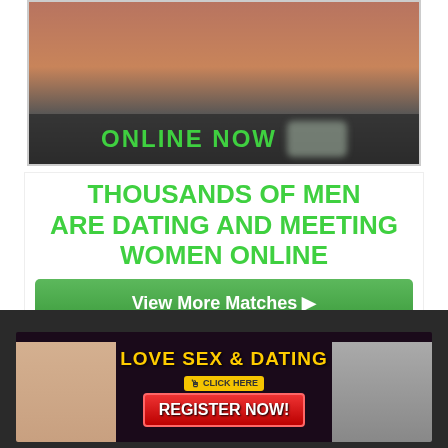[Figure (photo): Partial photo of a person in a dark bra/bikini top, cropped, with 'ONLINE NOW' overlay text in green and a blurred badge]
ONLINE NOW
THOUSANDS OF MEN ARE DATING AND MEETING WOMEN ONLINE
View More Matches ▶
[Figure (advertisement): Adult dating advertisement banner reading 'LOVE SEX & DATING' with 'CLICK HERE' badge and 'REGISTER NOW!' button, flanked by photos of two women]